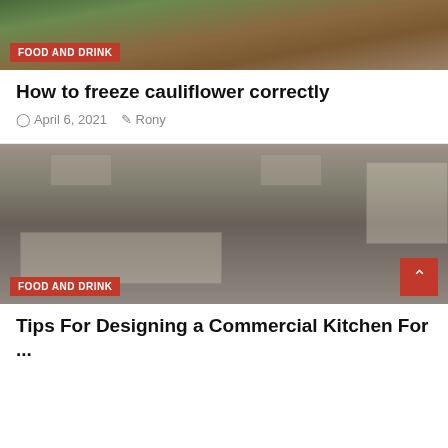[Figure (photo): Top portion of a food and drink article image showing a bowl of cauliflower on a wooden surface with green plants, partially cropped at top]
FOOD AND DRINK
How to freeze cauliflower correctly
April 6, 2021   Rony
[Figure (photo): Commercial kitchen with stainless steel counters, ranges, and cooking equipment; crabs/vegetables on the floor in foreground]
FOOD AND DRINK
Tips For Designing a Commercial Kitchen For ...